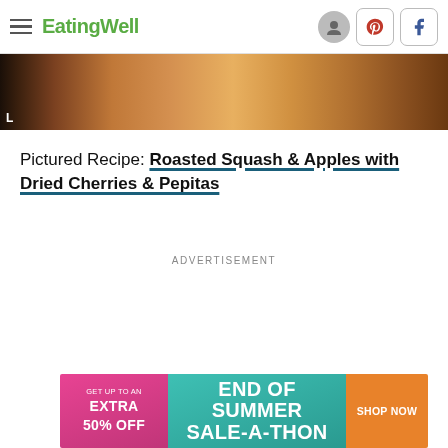EatingWell
[Figure (photo): Partial food photograph showing roasted squash and apples on a white plate with a dark background]
Pictured Recipe: Roasted Squash & Apples with Dried Cherries & Pepitas
ADVERTISEMENT
[Figure (infographic): Advertisement banner: GET UP TO AN EXTRA 50% OFF — END OF SUMMER SALE-A-THON — SHOP NOW]